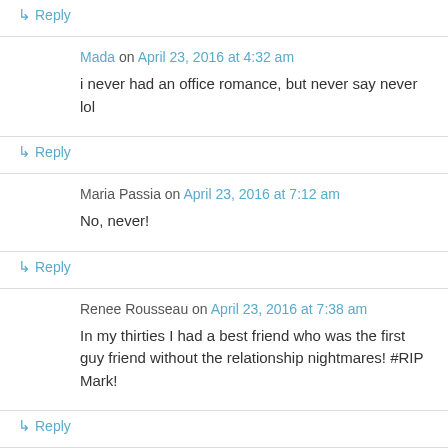↳ Reply
Mada on April 23, 2016 at 4:32 am
i never had an office romance, but never say never lol
↳ Reply
Maria Passia on April 23, 2016 at 7:12 am
No, never!
↳ Reply
Renee Rousseau on April 23, 2016 at 7:38 am
In my thirties I had a best friend who was the first guy friend without the relationship nightmares! #RIP Mark!
↳ Reply
Christie Marsh on April 23, 2016 at 8:35 am